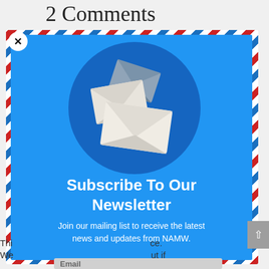2 Comments
[Figure (illustration): Newsletter subscription modal with airmail border. Blue background box with a circular dark blue area containing three illustrated envelopes (white/cream colored). Below the envelopes: bold white text 'Subscribe To Our Newsletter' and smaller white text 'Join our mailing list to receive the latest news and updates from NAMW.' A close button (X) is in top-left corner.]
Subscribe To Our Newsletter
Join our mailing list to receive the latest news and updates from NAMW.
Thi... ce. We... ut if
Email